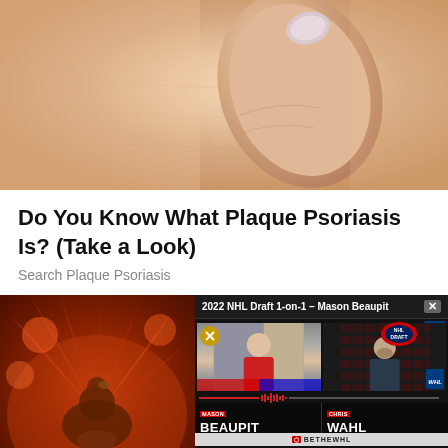[Figure (photo): Close-up photo of human skin showing a thumb pressing or touching skin, likely illustrating plaque psoriasis symptoms]
Do You Know What Plaque Psoriasis Is? (Take a Look)
Search Plaque Psoriasis
[Figure (screenshot): Screenshot of a video player showing '2022 NHL Draft 1-on-1 – Mason Beaupit' with two people on a video call. Bottom shows 'BEAUPIT' on left and 'WAHL' on right with BETHEWHL branding. WHL Draft logo visible. Mute button shown.]